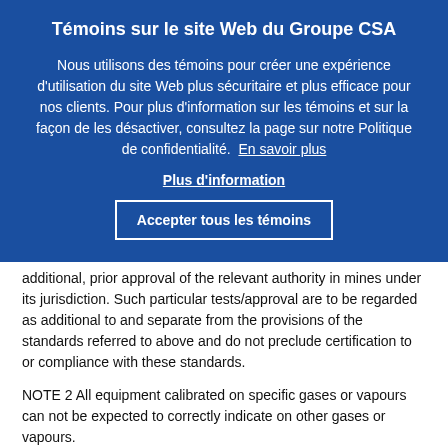Témoins sur le site Web du Groupe CSA
Nous utilisons des témoins pour créer une expérience d'utilisation du site Web plus sécuritaire et plus efficace pour nos clients. Pour plus d'information sur les témoins et sur la façon de les désactiver, consultez la page sur notre Politique de confidentialité. En savoir plus
Plus d'information
Accepter tous les témoins
additional, prior approval of the relevant authority in mines under its jurisdiction. Such particular tests/approval are to be regarded as additional to and separate from the provisions of the standards referred to above and do not preclude certification to or compliance with these standards.
NOTE 2 All equipment calibrated on specific gases or vapours can not be expected to correctly indicate on other gases or vapours.
For the purposes of this standard, the terms lower flammable limit (LFL) and lower explosive limit (LEL) are interchangeable.